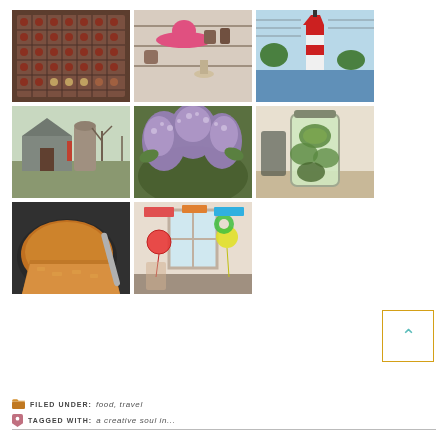[Figure (photo): Grid of 8 lifestyle photos: chocolates/seeds tray, pink hat in shop, lighthouse painting, barn with silo, lilac flowers, jar of pickles/cucumbers, cornbread in pan, party room with balloons]
FILED UNDER: food, travel
TAGGED WITH: a creative soul in...